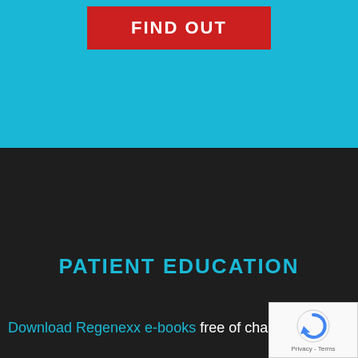[Figure (screenshot): Cyan/light blue background top section with a red button labeled FIND OUT]
FIND OUT
PATIENT EDUCATION
Download Regenexx e-books  free of charge
[Figure (logo): reCAPTCHA badge with circular arrow logo and Privacy - Terms text]